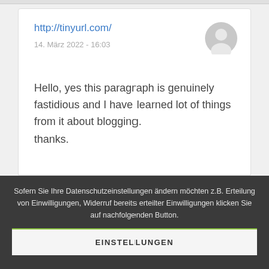http://tinyurl.com/
14. März 2022 - 16:03
Hello, yes this paragraph is genuinely fastidious and I have learned lot of things from it about blogging.
thanks.
Sofern Sie Ihre Datenschutzeinstellungen ändern möchten z.B. Erteilung von Einwilligungen, Widerruf bereits erteilter Einwilligungen klicken Sie auf nachfolgenden Button.
EINSTELLUNGEN